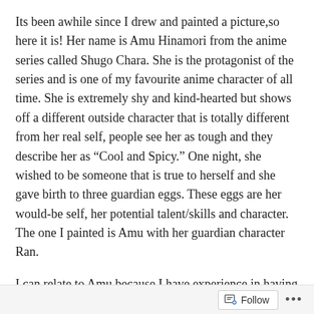Its been awhile since I drew and painted a picture, so here it is! Her name is Amu Hinamori from the anime series called Shugo Chara. She is the protagonist of the series and is one of my favourite anime character of all time. She is extremely shy and kind-hearted but shows off a different outside character that is totally different from her real self, people see her as tough and they describe her as “Cool and Spicy.” One night, she wished to be someone that is true to herself and she gave birth to three guardian eggs. These eggs are her would-be self, her potential talent/skills and character. The one I painted is Amu with her guardian character Ran.
I can relate to Amu because I have experience in having to show a different character other than myself because of the peer pressures of my classmates and friends. I felt like I needed to be somebody else to fit in and be one of the “cool kids.” Throughout my life, I have
Follow ...